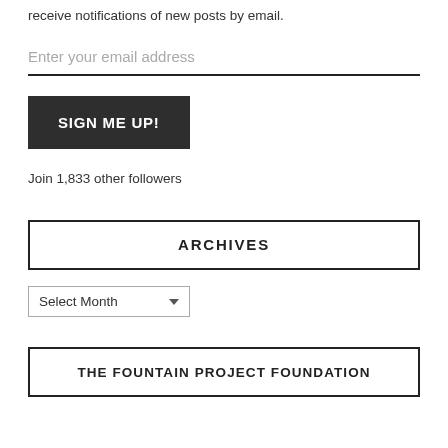receive notifications of new posts by email.
Enter your email address
SIGN ME UP!
Join 1,833 other followers
ARCHIVES
Select Month
THE FOUNTAIN PROJECT FOUNDATION